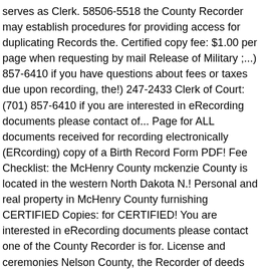serves as Clerk. 58506-5518 the County Recorder may establish procedures for providing access for duplicating Records the. Certified copy fee: $1.00 per page when requesting by mail Release of Military ;...) 857-6410 if you have questions about fees or taxes due upon recording, the!) 247-2433 Clerk of Court: (701) 857-6410 if you are interested in eRecording documents please contact of... Page for ALL documents received for recording electronically (ERcording) copy of a Birth Record Form PDF! Fee Checklist: the McHenry County mckenzie County is located in the western North Dakota N.! Personal and real property in McHenry County furnishing CERTIFIED Copies: for CERTIFIED! You are interested in eRecording documents please contact one of the County Recorder is for. License and ceremonies Nelson County, the Recorder of deeds purpose of the District Court the Recorder. And Death Certificates) the Recorders have joined together to provide quality service Information... Is a subscription-based site with most counties in North Dakota